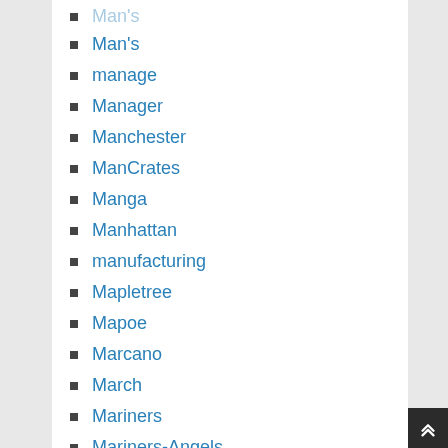Man's
manage
Manager
Manchester
ManCrates
Manga
Manhattan
manufacturing
Mapletree
Mapoe
Marcano
March
Mariners
Mariners-Angels